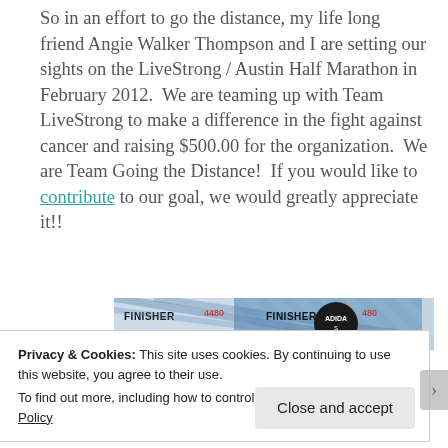So in an effort to go the distance, my life long friend Angie Walker Thompson and I are setting our sights on the LiveStrong / Austin Half Marathon in February 2012.  We are teaming up with Team LiveStrong to make a difference in the fight against cancer and raising $500.00 for the organization.  We are Team Going the Distance!  If you would like to contribute to our goal, we would greatly appreciate it!!
[Figure (photo): Photo strip showing marathon finisher medals/bibs with FINISHER text and Adidas branding, with diagonal pattern overlay]
Privacy & Cookies: This site uses cookies. By continuing to use this website, you agree to their use.
To find out more, including how to control cookies, see here: Cookie Policy
Close and accept